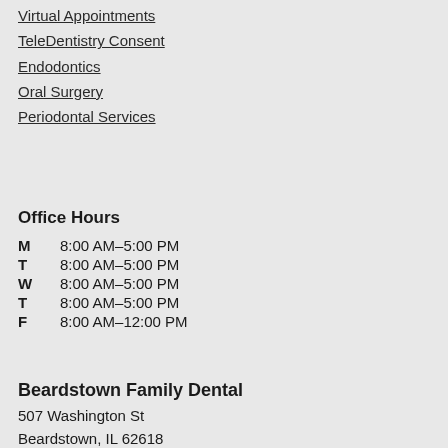Virtual Appointments
TeleDentistry Consent
Endodontics
Oral Surgery
Periodontal Services
Office Hours
| Day | Hours |
| --- | --- |
| M | 8:00 AM–5:00 PM |
| T | 8:00 AM–5:00 PM |
| W | 8:00 AM–5:00 PM |
| T | 8:00 AM–5:00 PM |
| F | 8:00 AM–12:00 PM |
Beardstown Family Dental
507 Washington St
Beardstown, IL 62618